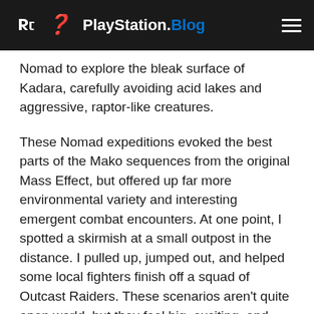PlayStation.Blog
Nomad to explore the bleak surface of Kadara, carefully avoiding acid lakes and aggressive, raptor-like creatures.
These Nomad expeditions evoked the best parts of the Mako sequences from the original Mass Effect, but offered up far more environmental variety and interesting emergent combat encounters. At one point, I spotted a skirmish at a small outpost in the distance. I pulled up, jumped out, and helped some local fighters finish off a squad of Outcast Raiders. These scenarios aren't quite open world, but they feel big, exciting, and brimming with possibility.